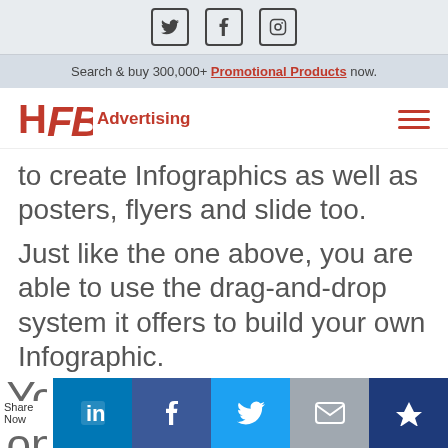Social icons: Twitter, Facebook, Instagram
Search & buy 300,000+ Promotional Products now.
[Figure (logo): HFB Advertising logo with red letters and hamburger menu icon]
to create Infographics as well as posters, flyers and slide too.
Just like the one above, you are able to use the drag-and-drop system it offers to build your own Infographic.
You ont
Share Now | LinkedIn | Facebook | Twitter | Email | Crown